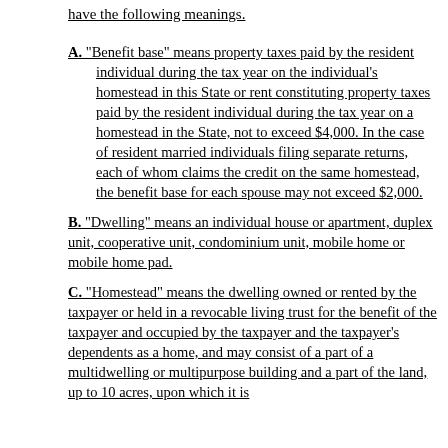have the following meanings.
A. "Benefit base" means property taxes paid by the resident individual during the tax year on the individual's homestead in this State or rent constituting property taxes paid by the resident individual during the tax year on a homestead in the State, not to exceed $4,000. In the case of resident married individuals filing separate returns, each of whom claims the credit on the same homestead, the benefit base for each spouse may not exceed $2,000.
B. "Dwelling" means an individual house or apartment, duplex unit, cooperative unit, condominium unit, mobile home or mobile home pad.
C. "Homestead" means the dwelling owned or rented by the taxpayer or held in a revocable living trust for the benefit of the taxpayer and occupied by the taxpayer and the taxpayer's dependents as a home, and may consist of a part of a multidwelling or multipurpose building and a part of the land, up to 10 acres, upon which it is